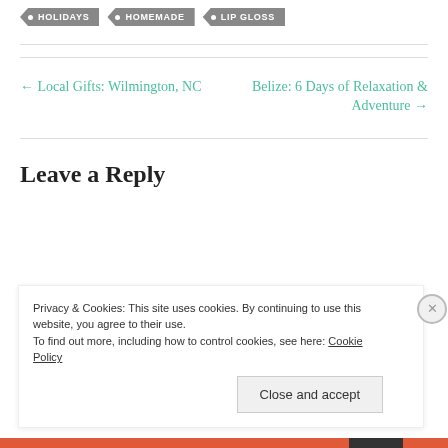• HOLIDAYS
• HOMEMADE
• LIP GLOSS
← Local Gifts: Wilmington, NC
Belize: 6 Days of Relaxation & Adventure →
Leave a Reply
Privacy & Cookies: This site uses cookies. By continuing to use this website, you agree to their use. To find out more, including how to control cookies, see here: Cookie Policy
Close and accept